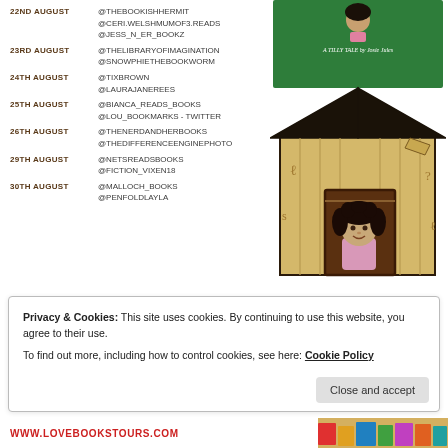22ND AUGUST @THEBOOKISHHERMIT @CERI.WELSHMUMOF3.READS @JESS_N_ER_BOOKZ
23RD AUGUST @THELIBRARYOFIMAGINATION @SNOWPHIETHEBOOKWORM
24TH AUGUST @TIXBROWN @LAURAJANEREES
25TH AUGUST @BIANCA_READS_BOOKS @LOU_BOOKMARKS - TWITTER
26TH AUGUST @THENERDANDHERBOOKS @THEDIFFERENCEENGINEPHOTO
29TH AUGUST @NETSREADSBOOKS @FICTION_VIXEN18
30TH AUGUST @MALLOCH_BOOKS @PENFOLDLAYLA
[Figure (illustration): Book cover (green) with a Tilly Tales illustration, and below it a cartoon illustration of a wooden barn/shed with a girl with curly dark hair standing in the doorway, wearing a pink shirt.]
Privacy & Cookies: This site uses cookies. By continuing to use this website, you agree to their use.
To find out more, including how to control cookies, see here: Cookie Policy
Close and accept
WWW.LOVEBOOKSTOURS.COM